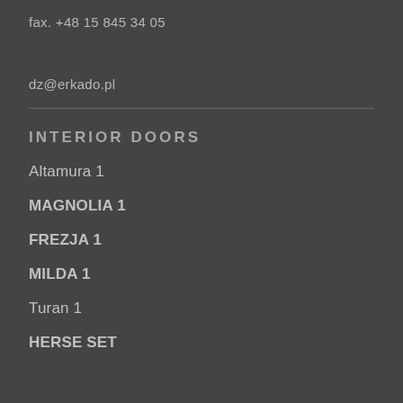fax. +48 15 845 34 05
dz@erkado.pl
INTERIOR DOORS
Altamura 1
MAGNOLIA 1
FREZJA 1
MILDA 1
Turan 1
HERSE SET